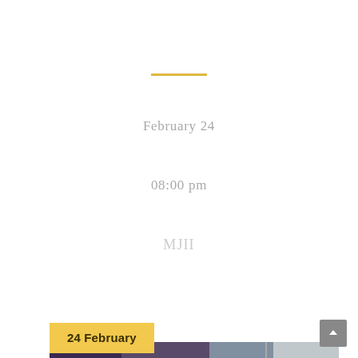February 24
08:00 pm
MJII
24 February
[Figure (photo): Group of people holding up magazines/books at an event. Several women in hijabs and formal attire standing in a row. A man in a pinstripe suit stands on the right. Event appears to be at MJII on February 24.]